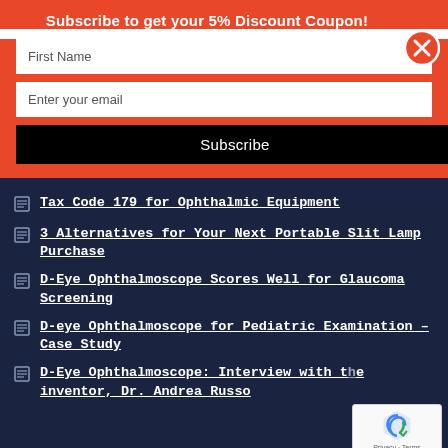Subscribe to get your 5% Discount Coupon!
First Name
Enter your email
Subscribe
Tax Code 179 for Ophthalmic Equipment
3 Alternatives for Your Next Portable Slit Lamp Purchase
D-Eye Ophthalmoscope Scores Well for Glaucoma Screening
D-eye Ophthalmoscope for Pediatric Examination – Case Study
D-Eye Ophthalmoscope: Interview with the inventor, Dr. Andrea Russo